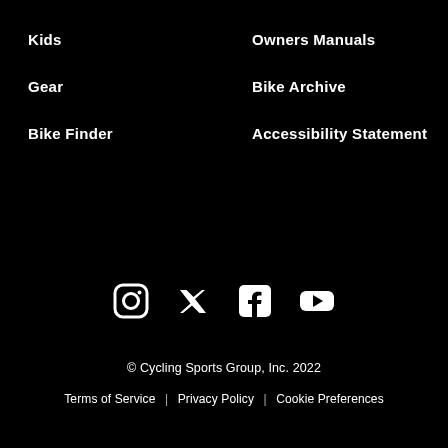Kids
Owners Manuals
Gear
Bike Archive
Bike Finder
Accessibility Statement
[Figure (other): Social media icons row: Instagram, Twitter, Facebook, YouTube]
© Cycling Sports Group, Inc. 2022
Terms of Service | Privacy Policy | Cookie Preferences